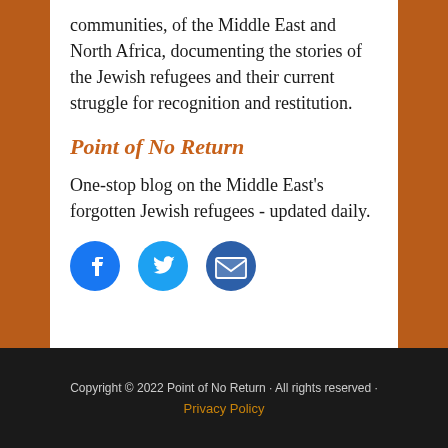communities, of the Middle East and North Africa, documenting the stories of the Jewish refugees and their current struggle for recognition and restitution.
Point of No Return
One-stop blog on the Middle East's forgotten Jewish refugees - updated daily.
[Figure (infographic): Three social media icons: Facebook (blue circle with f), Twitter (blue circle with bird), Email (blue circle with envelope)]
Copyright © 2022 Point of No Return · All rights reserved · Privacy Policy